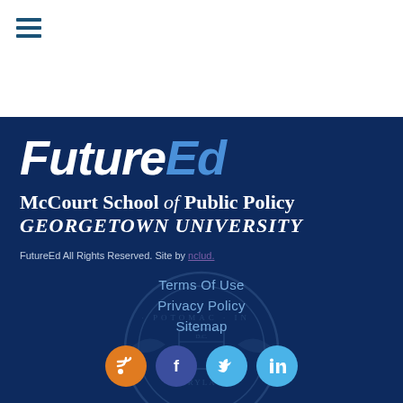[Figure (logo): Hamburger menu icon with three horizontal bars and a horizontal blue line extending to the right]
[Figure (logo): FutureEd logo in large bold italic text, white 'Future' and blue 'Ed']
McCourt School of Public Policy GEORGETOWN UNIVERSITY
FutureEd All Rights Reserved. Site by nclud.
Terms Of Use
Privacy Policy
Sitemap
[Figure (illustration): Georgetown University circular seal watermark in dark blue, partially visible at the bottom of the page]
[Figure (infographic): Four circular social media icons: RSS (orange), Facebook (dark blue), Twitter (light blue), LinkedIn (light blue)]